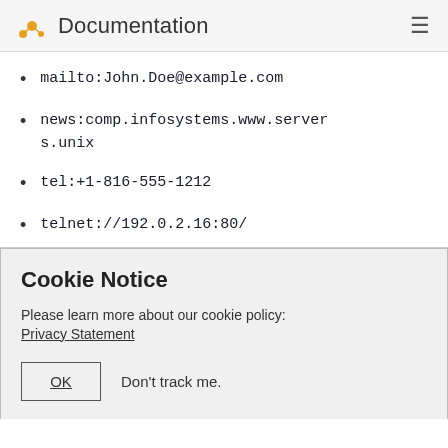Documentation
mailto:John.Doe@example.com
news:comp.infosystems.www.servers.unix
tel:+1-816-555-1212
telnet://192.0.2.16:80/
Cookie Notice
Please learn more about our cookie policy: Privacy Statement
OK  Don't track me.